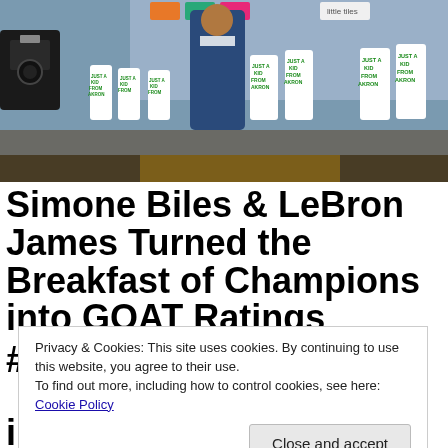[Figure (photo): LeBron James standing tall in a blue suit surrounded by children wearing white 'Just a Kid From Akron' t-shirts, on a stage or gym floor, with camera equipment visible on the left.]
Simone Biles & LeBron James Turned the Breakfast of Champions into GOAT Ratings #BigTimeUniversity
Privacy & Cookies: This site uses cookies. By continuing to use this website, you agree to their use.
To find out more, including how to control cookies, see here: Cookie Policy
inc. #WOWCAST